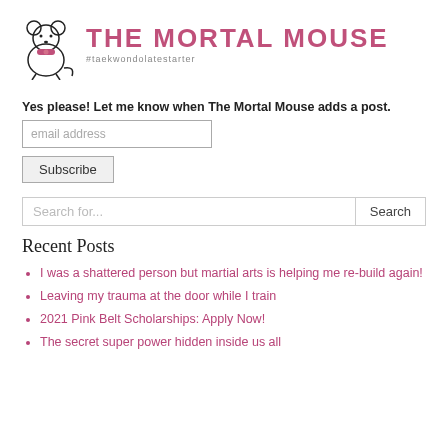[Figure (logo): The Mortal Mouse blog logo with cartoon mouse illustration and pink title text. Subtitle: #taekwondolatestarter]
Yes please! Let me know when The Mortal Mouse adds a post.
email address
Subscribe
Search for...
Search
Recent Posts
I was a shattered person but martial arts is helping me re-build again!
Leaving my trauma at the door while I train
2021 Pink Belt Scholarships: Apply Now!
The secret super power hidden inside us all